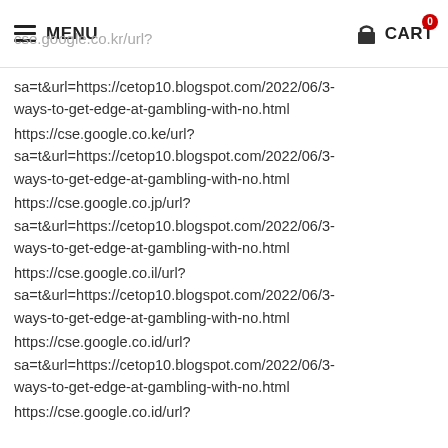MENU | CART
sa=t&url=https://cetop10.blogspot.com/2022/06/3-ways-to-get-edge-at-gambling-with-no.html
https://cse.google.co.ke/url?
sa=t&url=https://cetop10.blogspot.com/2022/06/3-ways-to-get-edge-at-gambling-with-no.html
https://cse.google.co.jp/url?
sa=t&url=https://cetop10.blogspot.com/2022/06/3-ways-to-get-edge-at-gambling-with-no.html
https://cse.google.co.il/url?
sa=t&url=https://cetop10.blogspot.com/2022/06/3-ways-to-get-edge-at-gambling-with-no.html
https://cse.google.co.id/url?
sa=t&url=https://cetop10.blogspot.com/2022/06/3-ways-to-get-edge-at-gambling-with-no.html
https://cse.google.co.id/url?